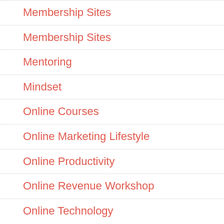Membership Sites
Membership Sites
Mentoring
Mindset
Online Courses
Online Marketing Lifestyle
Online Productivity
Online Revenue Workshop
Online Technology